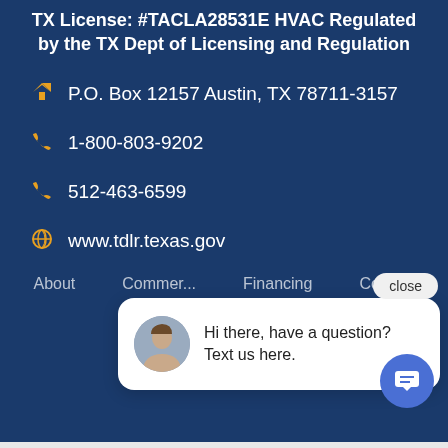TX License: #TACLA28531E HVAC Regulated by the TX Dept of Licensing and Regulation
P.O. Box 12157 Austin, TX 78711-3157
1-800-803-9202
512-463-6599
www.tdlr.texas.gov
About   Commercial   Financing   Contact   Product Guide
[Figure (screenshot): Chat popup with female avatar and message: Hi there, have a question? Text us here. Close button visible. Blue chat icon button at bottom right.]